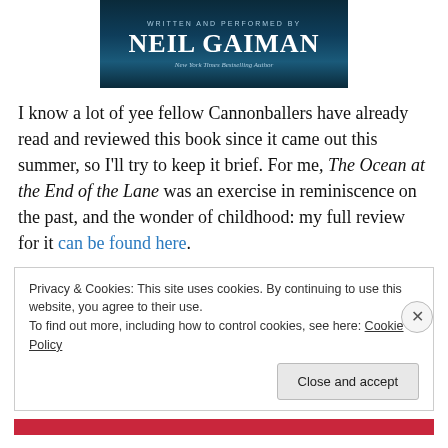[Figure (illustration): Book cover segment showing 'Written and Performed by Neil Gaiman, New York Times Bestselling Author' text on dark teal/navy background]
I know a lot of yee fellow Cannonballers have already read and reviewed this book since it came out this summer, so I'll try to keep it brief. For me, The Ocean at the End of the Lane was an exercise in reminiscence on the past, and the wonder of childhood: my full review for it can be found here.
Privacy & Cookies: This site uses cookies. By continuing to use this website, you agree to their use. To find out more, including how to control cookies, see here: Cookie Policy